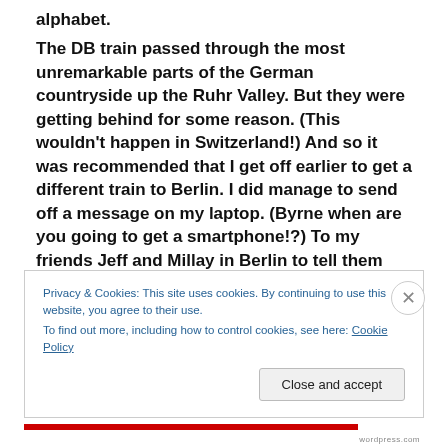alphabet. The DB train passed through the most unremarkable parts of the German countryside up the Ruhr Valley. But they were getting behind for some reason. (This wouldn't happen in Switzerland!) And so it was recommended that I get off earlier to get a different train to Berlin. I did manage to send off a message on my laptop. (Byrne when are you going to get a smartphone!?) To my friends Jeff and Millay in Berlin to tell them which train I would be on. That little message cost me over $5. And then I never had access to the internet again. I suppose I could have bought a smartphone and
Privacy & Cookies: This site uses cookies. By continuing to use this website, you agree to their use. To find out more, including how to control cookies, see here: Cookie Policy